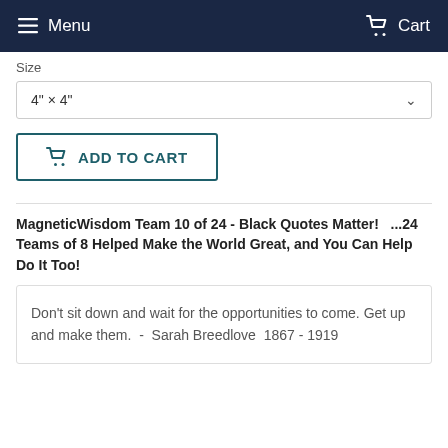Menu   Cart
Size
4" × 4"
ADD TO CART
MagneticWisdom Team 10 of 24 - Black Quotes Matter!   ...24 Teams of 8 Helped Make the World Great, and You Can Help Do It Too!
Don't sit down and wait for the opportunities to come. Get up and make them.  -  Sarah Breedlove  1867 - 1919